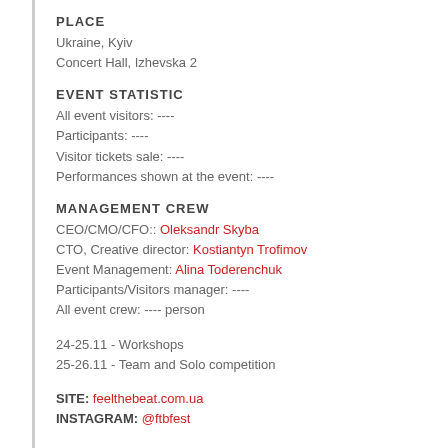PLACE
Ukraine, Kyiv
Concert Hall, Izhevska 2
EVENT STATISTIC
All event visitors: ----
Participants: ----
Visitor tickets sale: ----
Performances shown at the event: ----
MANAGEMENT CREW
CEO/CMO/CFO:: Oleksandr Skyba
CTO, Creative director: Kostiantyn Trofimov
Event Management: Alina Toderenchuk
Participants/Visitors manager: ----
All event crew: ---- person
24-25.11 - Workshops
25-26.11 - Team and Solo competition
SITE: feelthebeat.com.ua
INSTAGRAM: @ftbfest
PARTNER: MEGOGO